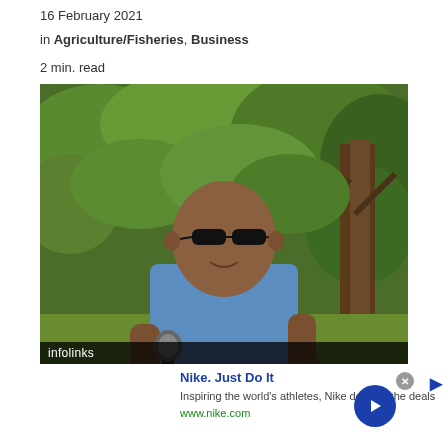16 February 2021
in Agriculture/Fisheries, Business
2 min. read
[Figure (photo): A bald man wearing sunglasses and a blue button-up shirt speaks into a microphone outdoors, surrounded by green foliage and trees.]
infolinks
Nike. Just Do It
Inspiring the world's athletes, Nike delivers the deals
www.nike.com